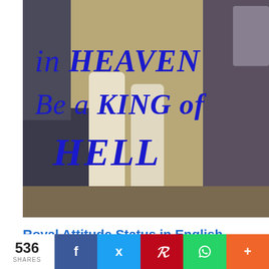[Figure (photo): Photo of a person's legs in white pants and yellow shoes sitting in a car, with bold blue italic text overlay reading: 'in HEAVEN / Be a KING of / HELL']
Royal Attitude Status in English
536 SHARES